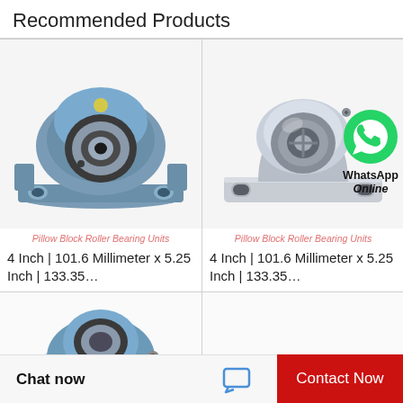Recommended Products
[Figure (photo): Blue pillow block roller bearing unit with two mounting holes, viewed from the front at slight angle]
Pillow Block Roller Bearing Units
4 Inch | 101.6 Millimeter x 5.25 Inch | 133.35…
[Figure (photo): Stainless steel silver pillow block roller bearing unit with WhatsApp Online overlay graphic]
Pillow Block Roller Bearing Units
4 Inch | 101.6 Millimeter x 5.25 Inch | 133.35…
[Figure (photo): Partial view of another pillow block bearing unit at bottom of page, partially cut off]
Chat now
Contact Now